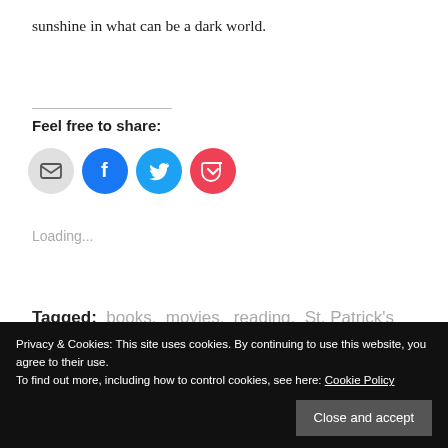sunshine in what can be a dark world.
Feel free to share:
[Figure (infographic): Four circular social share icons: email (grey), Facebook (blue), Twitter (cyan), Pocket (red/pink)]
Loading...
Tagged: books, movies, reading, St. Patrick's Day, The Trip, vacation
Privacy & Cookies: This site uses cookies. By continuing to use this website, you agree to their use. To find out more, including how to control cookies, see here: Cookie Policy
Close and accept
Robinson